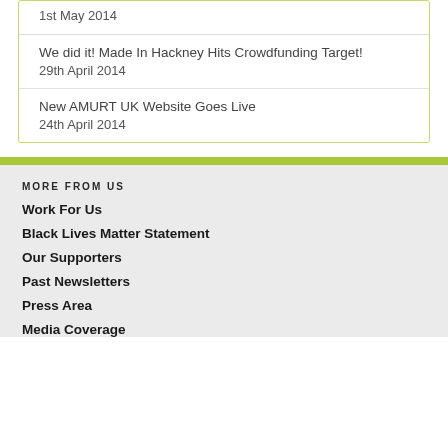1st May 2014
We did it! Made In Hackney Hits Crowdfunding Target!
29th April 2014
New AMURT UK Website Goes Live
24th April 2014
MORE FROM US
Work For Us
Black Lives Matter Statement
Our Supporters
Past Newsletters
Press Area
Media Coverage